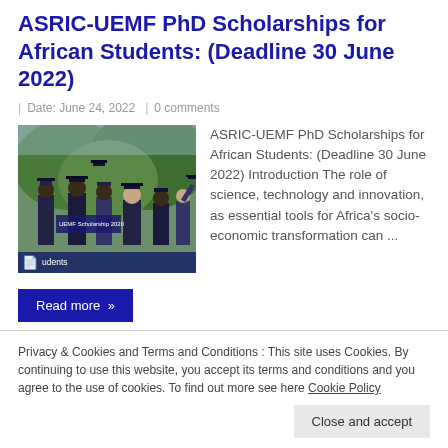ASRIC-UEMF PhD Scholarships for African Students: (Deadline 30 June 2022)
| Date: June 24, 2022 | 0 comments
[Figure (photo): Graduation ceremony with students in gowns throwing caps, with overlay text 'UEMF Scholarship 2020' and document icon and 'Students']
ASRIC-UEMF PhD Scholarships for African Students: (Deadline 30 June 2022) Introduction The role of science, technology and innovation, as essential tools for Africa's socio-economic transformation can ...
Read more »
Privacy & Cookies and Terms and Conditions : This site uses Cookies. By continuing to use this website, you accept its terms and conditions and you agree to the use of cookies. To find out more see here Cookie Policy
Close and accept